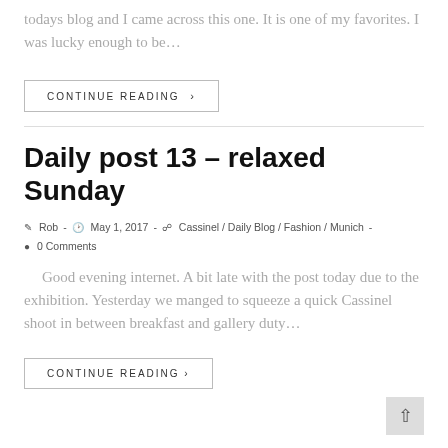todays blog and I came across this one. It is one of my favorites.  I was lucky enough to be…
CONTINUE READING ›
Daily post 13 – relaxed Sunday
Post author: Rob  -  Post published: May 1, 2017  -  Post category: Cassinel / Daily Blog / Fashion / Munich  -  Post comments: 0 Comments
Good evening internet. A bit late with the post today due to the exhibition. Yesterday we manged to squeeze a quick Cassinel shoot in between breakfast and gallery duty…
CONTINUE READING ›